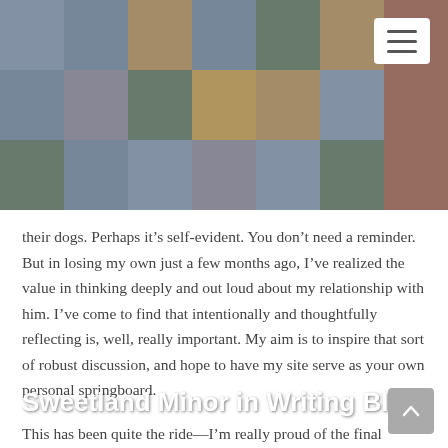[Figure (photo): Mosaic banner of various photos used as website header background]
Sweetland Minor in Writing Blog
their dogs. Perhaps it’s self-evident. You don’t need a reminder. But in losing my own just a few months ago, I’ve realized the value in thinking deeply and out loud about my relationship with him. I’ve come to find that intentionally and thoughtfully reflecting is, well, really important. My aim is to inspire that sort of robust discussion, and hope to have my site serve as your own personal springboard.
This has been quite the ride—I’m really proud of the final product, and I hope to continue visiting and contributing to it over the next few months and years. So with that—as they say in my new favorite show of quarantine, Top Chef—I’ll pack my knives and go.